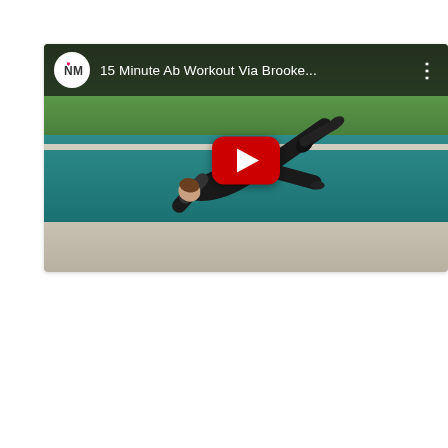[Figure (screenshot): YouTube video thumbnail embed showing a fitness video titled '15 Minute Ab Workout Via Brooke...' with a channel icon (NM logo), a red YouTube play button in the center, and a woman performing a plank/ab exercise pose near a swimming pool with green grass in the background.]